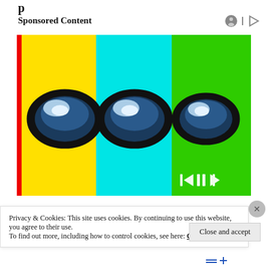p
Sponsored Content
[Figure (illustration): Three Among Us game characters (crewmates) side by side on colored backgrounds — yellow on the left, cyan in the middle, green on the right — each showing a visor/eye. A red stripe appears on the far left. Media player controls are visible at the bottom right of the image.]
Privacy & Cookies: This site uses cookies. By continuing to use this website, you agree to their use.
To find out more, including how to control cookies, see here: Cookie Policy
Close and accept